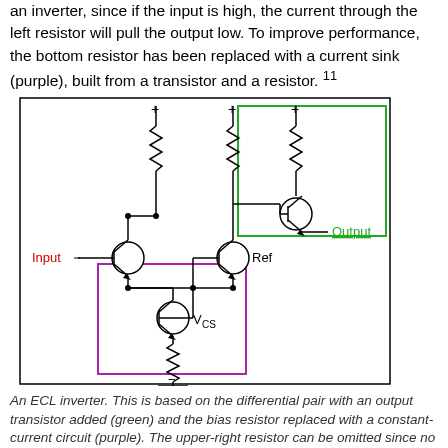an inverter, since if the input is high, the current through the left resistor will pull the output low. To improve performance, the bottom resistor has been replaced with a current sink (purple), built from a transistor and a resistor. 11
[Figure (circuit-diagram): An ECL inverter circuit diagram showing a differential pair with an input transistor (left), a reference transistor (center-right), an output transistor (top-right, in green box), a current sink circuit (bottom-left, in purple box) consisting of a transistor and resistor with Vcs label, two resistors at the top, Input label in red on the left, Output label in green on the right, and Ref label in the middle.]
An ECL inverter. This is based on the differential pair with an output transistor added (green) and the bias resistor replaced with a constant-current circuit (purple). The upper-right resistor can be omitted since no